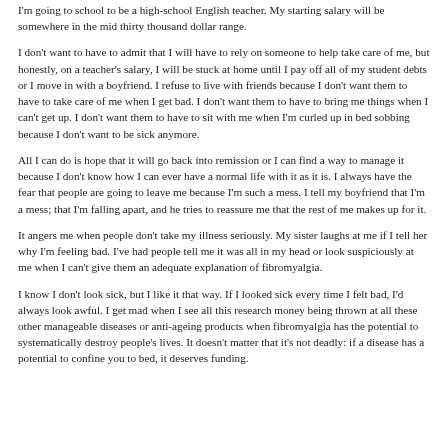I'm going to school to be a high-school English teacher. My starting salary will be somewhere in the mid thirty thousand dollar range.
I don't want to have to admit that I will have to rely on someone to help take care of me, but honestly, on a teacher's salary, I will be stuck at home until I pay off all of my student debts or I move in with a boyfriend. I refuse to live with friends because I don't want them to have to take care of me when I get bad. I don't want them to have to bring me things when I can't get up. I don't want them to have to sit with me when I'm curled up in bed sobbing because I don't want to be sick anymore.
All I can do is hope that it will go back into remission or I can find a way to manage it because I don't know how I can ever have a normal life with it as it is. I always have the fear that people are going to leave me because I'm such a mess. I tell my boyfriend that I'm a mess; that I'm falling apart, and he tries to reassure me that the rest of me makes up for it.
It angers me when people don't take my illness seriously. My sister laughs at me if I tell her why I'm feeling bad. I've had people tell me it was all in my head or look suspiciously at me when I can't give them an adequate explanation of fibromyalgia.
I know I don't look sick, but I like it that way. If I looked sick every time I felt bad, I'd always look awful. I get mad when I see all this research money being thrown at all these other manageable diseases or anti-ageing products when fibromyalgia has the potential to systematically destroy people's lives. It doesn't matter that it's not deadly: if a disease has a potential to confine you to bed, it deserves funding.